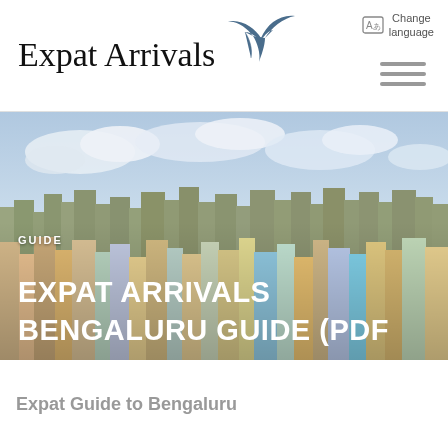Expat Arrivals
Change language
[Figure (screenshot): Aerial photo of Bengaluru city skyline with dense buildings and cloudy sky]
GUIDE
EXPAT ARRIVALS BENGALURU GUIDE (PDF)
Expat Guide to Bengaluru